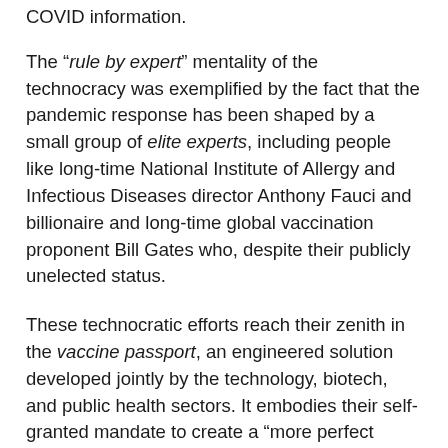COVID information.
The “rule by expert” mentality of the technocracy was exemplified by the fact that the pandemic response has been shaped by a small group of elite experts, including people like long-time National Institute of Allergy and Infectious Diseases director Anthony Fauci and billionaire and long-time global vaccination proponent Bill Gates who, despite their publicly unelected status.
These technocratic efforts reach their zenith in the vaccine passport, an engineered solution developed jointly by the technology, biotech, and public health sectors. It embodies their self-granted mandate to create a “more perfect union,” one that is free from the existential threat of disease but embodies the technocrat’s need to control.
Inevitability, the views of the technocrats diverge from that of the common people. As George Friedman explained: “Over